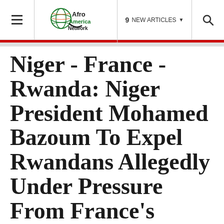≡  Afro America Network  9 NEW ARTICLES  🔍
Niger - France - Rwanda: Niger President Mohamed Bazoum To Expel Rwandans Allegedly Under Pressure From France's Emmanuel Macron and Rwanda's